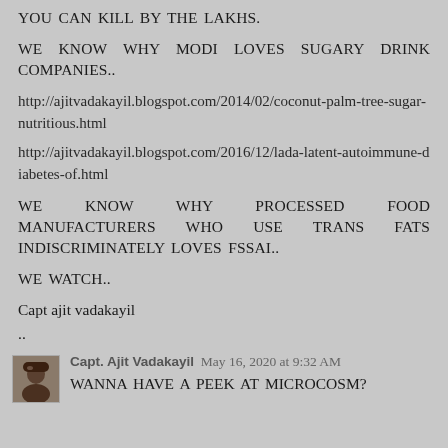YOU CAN KILL BY THE LAKHS.
WE KNOW WHY MODI LOVES SUGARY DRINK COMPANIES..
http://ajitvadakayil.blogspot.com/2014/02/coconut-palm-tree-sugar-nutritious.html
http://ajitvadakayil.blogspot.com/2016/12/lada-latent-autoimmune-diabetes-of.html
WE KNOW WHY PROCESSED FOOD MANUFACTURERS WHO USE TRANS FATS INDISCRIMINATELY LOVES FSSAI..
WE WATCH..
Capt ajit vadakayil
..
Capt. Ajit Vadakayil  May 16, 2020 at 9:32 AM
WANNA HAVE A PEEK AT MICROCOSM?